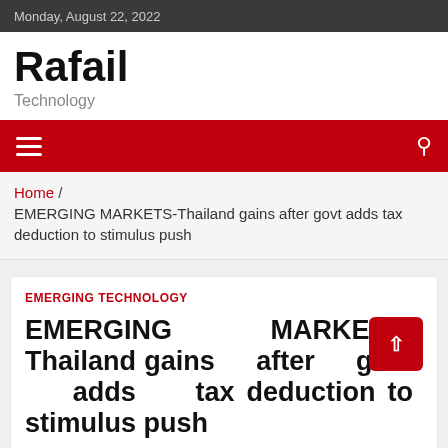Monday, August 22, 2022
Rafail
Technology
EMERGING TECHNOLOGY
Home / EMERGING MARKETS-Thailand gains after govt adds tax deduction to stimulus push
EMERGING TECHNOLOGY
EMERGING MARKETS-Thailand gains after govt adds tax deduction to stimulus push